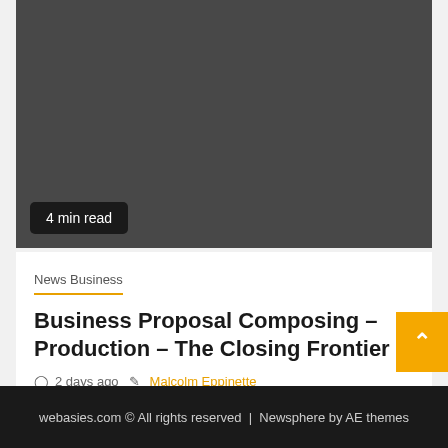[Figure (photo): Dark gray placeholder image area for article thumbnail]
4 min read
News Business
Business Proposal Composing – Production – The Closing Frontier
2 days ago  Malcolm Eppinette
webasies.com © All rights reserved  |  Newsphere by AE themes